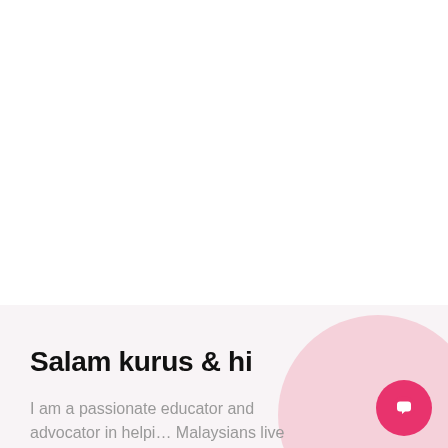Salam kurus & hi
I am a passionate educator and advocator in helpi… Malaysians live better, healthier,···